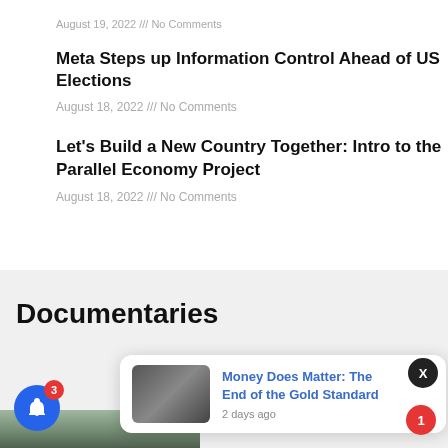August 19, 2022 /// No Comments
Meta Steps up Information Control Ahead of US Elections
August 18, 2022 /// No Comments
Let's Build a New Country Together: Intro to the Parallel Economy Project
August 18, 2022 /// No Comments
Documentaries
[Figure (screenshot): Notification popup showing 'Money Does Matter: The End of the Gold Standard' with thumbnail image and '2 days ago' timestamp, overlaying a blue bell notification button with badge showing 3, and an X close button]
Money Does Matter: The End of the Gold Standard
2 days ago